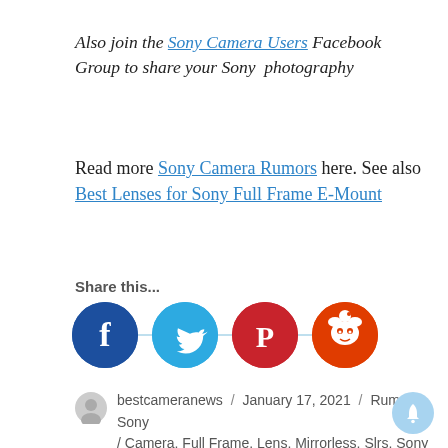Also join the Sony Camera Users Facebook Group to share your Sony photography
Read more Sony Camera Rumors here. See also Best Lenses for Sony Full Frame E-Mount
Share this...
[Figure (infographic): Five social media share buttons: Facebook (dark blue), Twitter (light blue), Pinterest (red), Reddit (orange-red), WhatsApp (green)]
bestcameranews / January 17, 2021 / Rumors, Sony / Camera, Full Frame, Lens, Mirrorless, Slrs, Sony a7 IV, Sony Rumors